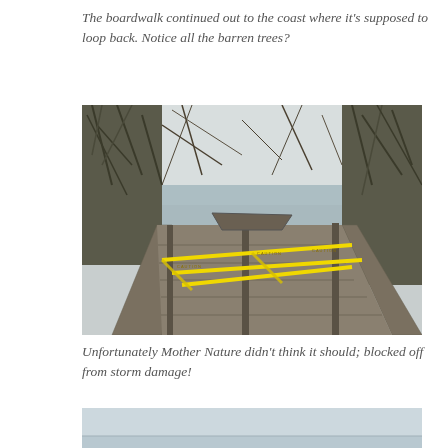The boardwalk continued out to the coast where it’s supposed to loop back. Notice all the barren trees?
[Figure (photo): A damaged wooden boardwalk blocked off with yellow caution tape, surrounded by bare, barren trees, with water visible in the background.]
Unfortunately Mother Nature didn’t think it should; blocked off from storm damage!
[Figure (photo): Partial view of a light gray overcast sky and calm water, cropped at the bottom of the page.]